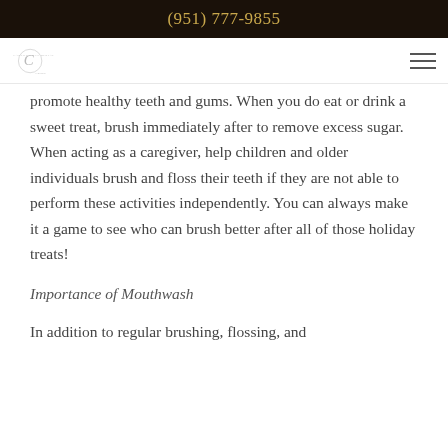(951) 777-9855
promote healthy teeth and gums. When you do eat or drink a sweet treat, brush immediately after to remove excess sugar. When acting as a caregiver, help children and older individuals brush and floss their teeth if they are not able to perform these activities independently. You can always make it a game to see who can brush better after all of those holiday treats!
Importance of Mouthwash
In addition to regular brushing, flossing, and